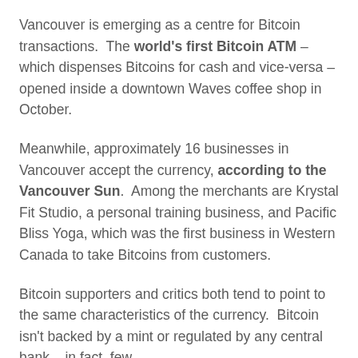Vancouver is emerging as a centre for Bitcoin transactions. The world's first Bitcoin ATM – which dispenses Bitcoins for cash and vice-versa – opened inside a downtown Waves coffee shop in October.
Meanwhile, approximately 16 businesses in Vancouver accept the currency, according to the Vancouver Sun. Among the merchants are Krystal Fit Studio, a personal training business, and Pacific Bliss Yoga, which was the first business in Western Canada to take Bitcoins from customers.
Bitcoin supporters and critics both tend to point to the same characteristics of the currency. Bitcoin isn't backed by a mint or regulated by any central bank – in fact, few